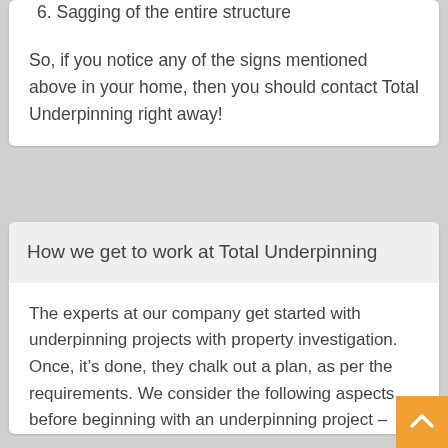6. Sagging of the entire structure
So, if you notice any of the signs mentioned above in your home, then you should contact Total Underpinning right away!
How we get to work at Total Underpinning
The experts at our company get started with underpinning projects with property investigation. Once, it’s done, they chalk out a plan, as per the requirements. We consider the following aspects before beginning with an underpinning project –